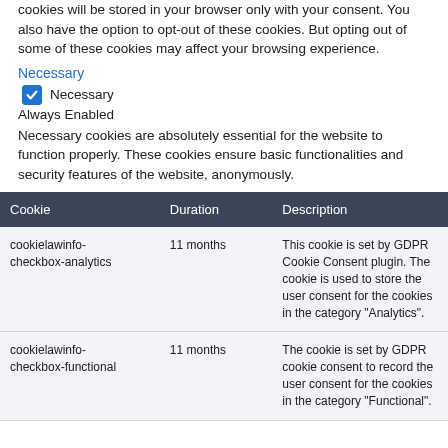cookies will be stored in your browser only with your consent. You also have the option to opt-out of these cookies. But opting out of some of these cookies may affect your browsing experience.
Necessary
☑ Necessary
Always Enabled
Necessary cookies are absolutely essential for the website to function properly. These cookies ensure basic functionalities and security features of the website, anonymously.
| Cookie | Duration | Description |
| --- | --- | --- |
| cookielawinfo-checkbox-analytics | 11 months | This cookie is set by GDPR Cookie Consent plugin. The cookie is used to store the user consent for the cookies in the category "Analytics". |
| cookielawinfo-checkbox-functional | 11 months | The cookie is set by GDPR cookie consent to record the user consent for the cookies in the category "Functional". |